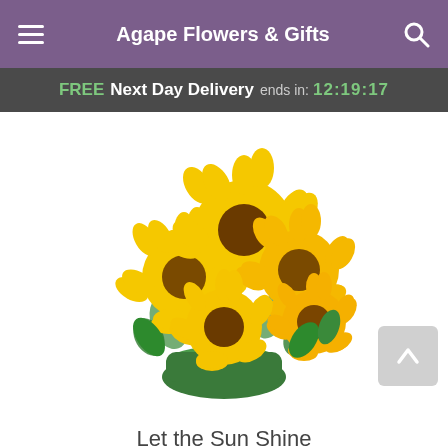Agape Flowers & Gifts
FREE Next Day Delivery ends in: 12:19:17
[Figure (photo): A bouquet of yellow sunflowers arranged in a round green bowl vase, displayed on a white background.]
Let the Sun Shine
Pick your perfect gift: